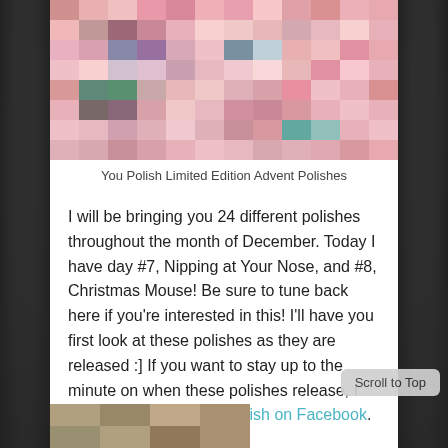[Figure (photo): Pixelated/blurred image of You Polish Limited Edition Advent Polishes nail polish bottles with pink and colorful mosaic-style appearance]
You Polish Limited Edition Advent Polishes
I will be bringing you 24 different polishes throughout the month of December. Today I have day #7, Nipping at Your Nose, and #8, Christmas Mouse! Be sure to tune back here if you're interested in this! I'll have you first look at these polishes as they are released :] If you want to stay up to the minute on when these polishes release, I suggest following You Polish on Facebook. Swatches after the jump!
[Figure (photo): Bottom portion of another image, partially visible at the bottom of the page]
Scroll to Top